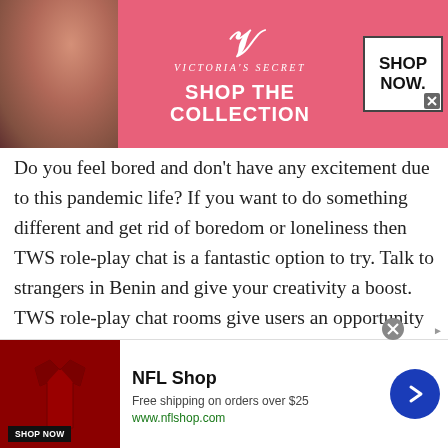[Figure (illustration): Victoria's Secret advertisement banner with pink background, model on left, logo and 'SHOP THE COLLECTION' text in center, 'SHOP NOW' button on right]
Do you feel bored and don't have any excitement due to this pandemic life? If you want to do something different and get rid of boredom or loneliness then TWS role-play chat is a fantastic option to try. Talk to strangers in Benin and give your creativity a boost. TWS role-play chat rooms give users an opportunity to unleash their inner potential or act who they want to be.
Nothing is more enjoyable than acting your all-time favorite character. You can join in TWS role-play...
[Figure (illustration): NFL Shop advertisement with red jersey product image, 'SHOP NOW' button, free shipping offer, and navigation arrow]